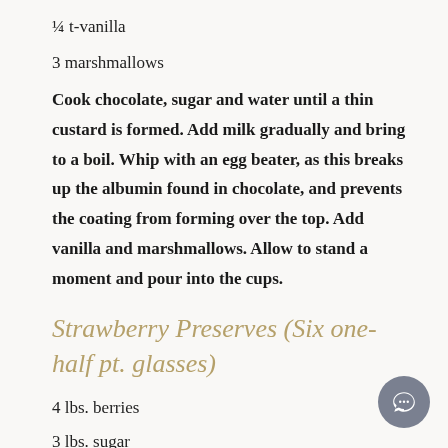¼ t-vanilla
3 marshmallows
Cook chocolate, sugar and water until a thin custard is formed. Add milk gradually and bring to a boil. Whip with an egg beater, as this breaks up the albumin found in chocolate, and prevents the coating from forming over the top. Add vanilla and marshmallows. Allow to stand a moment and pour into the cups.
Strawberry Preserves (Six one-half pt. glasses)
4 lbs. berries
3 lbs. sugar